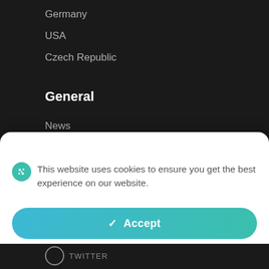Germany
USA
Czech Republic
General
News
Privacy Policy
This website uses cookies to ensure you get the best experience on our website.
Accept
Cookies Settings